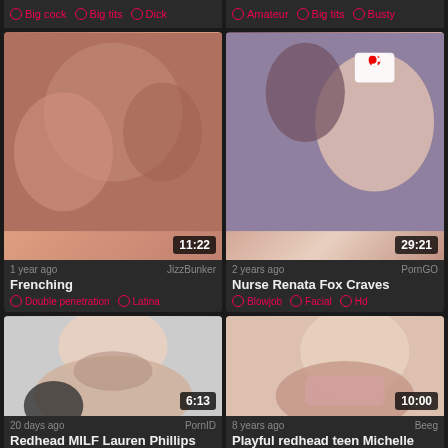Big cock · Big tits · Dick
Amateur · Big tits · Busty
[Figure (photo): Video thumbnail - Frenching, duration 11:22]
[Figure (photo): Video thumbnail - Nurse Renata Fox Craves, duration 29:21]
1 year ago — JizzBunker
Frenching
Double penetration · Latina
2 years ago — PornGO
Nurse Renata Fox Craves
Blowjob · Facial · Hd
[Figure (photo): Video thumbnail - Redhead MILF Lauren Phillips, duration 6:13]
[Figure (photo): Video thumbnail - Playful redhead teen Michelle, duration 10:00]
20 days ago — PornID
Redhead MILF Lauren Phillips
8 years ago — Beeg
Playful redhead teen Michelle